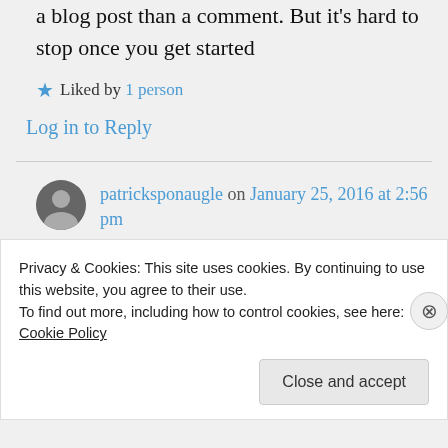my analysis was overlong, more like a blog post than a comment. But it's hard to stop once you get started
Liked by 1 person
Log in to Reply
patricksponaugle on January 25, 2016 at 2:56 pm
I don't mind!
Privacy & Cookies: This site uses cookies. By continuing to use this website, you agree to their use.
To find out more, including how to control cookies, see here: Cookie Policy
Close and accept